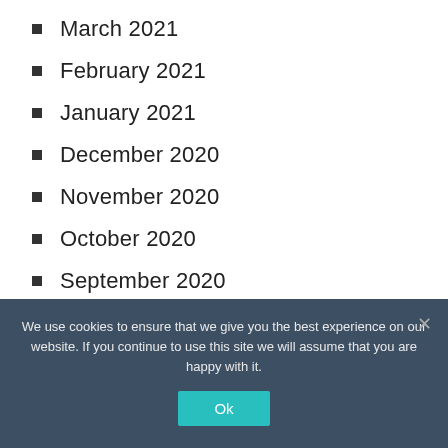March 2021
February 2021
January 2021
December 2020
November 2020
October 2020
September 2020
August 2020
We use cookies to ensure that we give you the best experience on our website. If you continue to use this site we will assume that you are happy with it.
Ok